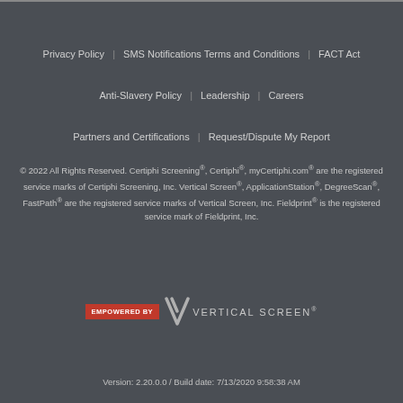Privacy Policy | SMS Notifications Terms and Conditions | FACT Act
Anti-Slavery Policy | Leadership | Careers
Partners and Certifications | Request/Dispute My Report
© 2022 All Rights Reserved. Certiphi Screening®, Certiphi®, myCertiphi.com® are the registered service marks of Certiphi Screening, Inc. Vertical Screen®, ApplicationStation®, DegreeScan®, FastPath® are the registered service marks of Vertical Screen, Inc. Fieldprint® is the registered service mark of Fieldprint, Inc.
[Figure (logo): Empowered by Vertical Screen logo with red badge and checkmark icon]
Version: 2.20.0.0 / Build date: 7/13/2020 9:58:38 AM